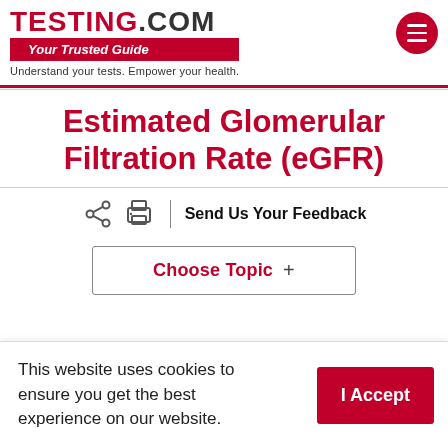TESTING.COM — Your Trusted Guide — Understand your tests. Empower your health.
Estimated Glomerular Filtration Rate (eGFR)
Send Us Your Feedback
Choose Topic +
This website uses cookies to ensure you get the best experience on our website.
I Accept